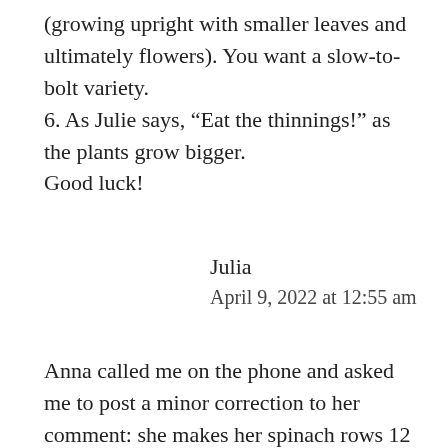(growing upright with smaller leaves and ultimately flowers). You want a slow-to-bolt variety.
6. As Julie says, “Eat the thinnings!” as the plants grow bigger.
Good luck!
Julia
April 9, 2022 at 12:55 am
Anna called me on the phone and asked me to post a minor correction to her comment: she makes her spinach rows 12 inches APART, not 12 inches long.